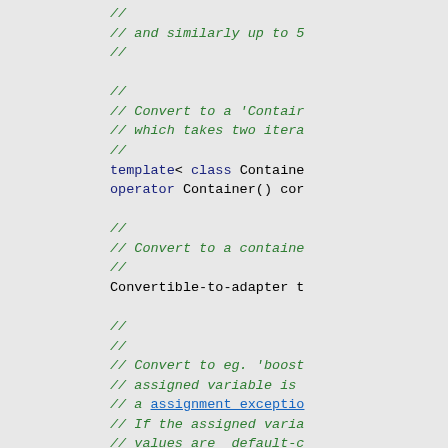[Figure (screenshot): Source code snippet in C++ showing template conversion operators and comments, with syntax highlighting: green italics for comments, dark blue for keywords, black for identifiers. Code is partially clipped on the right side.]